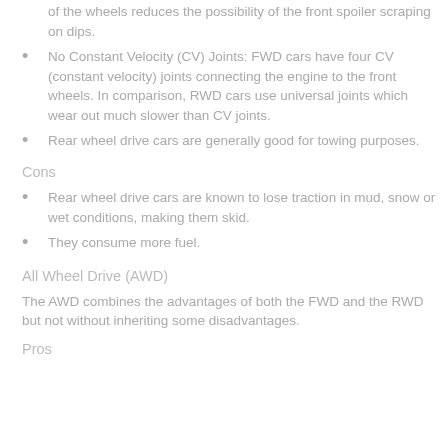of the wheels reduces the possibility of the front spoiler scraping on dips.
No Constant Velocity (CV) Joints: FWD cars have four CV (constant velocity) joints connecting the engine to the front wheels. In comparison, RWD cars use universal joints which wear out much slower than CV joints.
Rear wheel drive cars are generally good for towing purposes.
Cons
Rear wheel drive cars are known to lose traction in mud, snow or wet conditions, making them skid.
They consume more fuel.
All Wheel Drive (AWD)
The AWD combines the advantages of both the FWD and the RWD but not without inheriting some disadvantages.
Pros